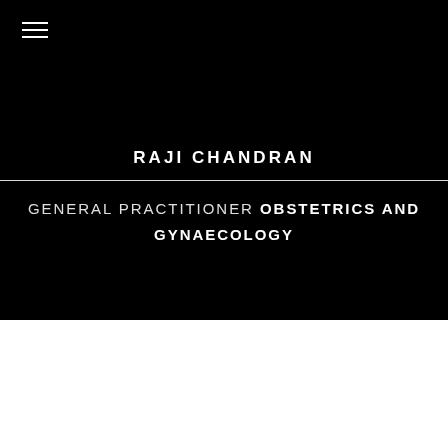[Figure (other): Hamburger menu icon (three horizontal lines) in top-left of black header area]
RAJI CHANDRAN
GENERAL PRACTITIONER OBSTETRICS AND GYNAECOLOGY